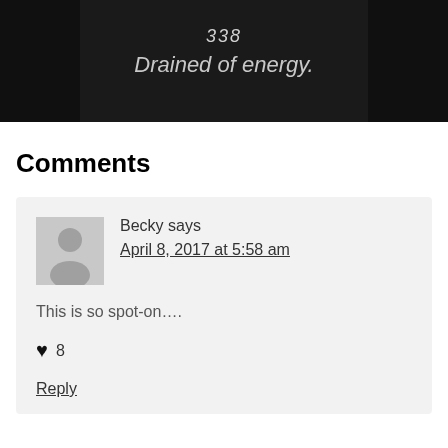[Figure (photo): Dark chalkboard image with handwritten text reading '338 Drained of energy.']
Comments
Becky says
April 8, 2017 at 5:58 am
This is so spot-on....
♥ 8
Reply